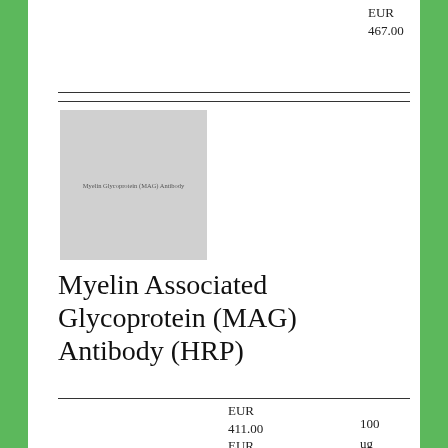EUR
467.00
[Figure (photo): Myelin Associated Glycoprotein (MAG) Antibody product image, gray placeholder with small label text]
Myelin Associated Glycoprotein (MAG) Antibody (HRP)
EUR
411.00
EUR
1845.00
EUR
100 ug
1 mg